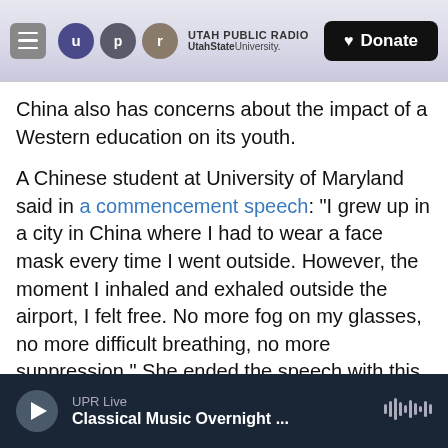UTAH PUBLIC RADIO | UtahState University | Donate
China also has concerns about the impact of a Western education on its youth.
A Chinese student at University of Maryland said in a commencement speech: "I grew up in a city in China where I had to wear a face mask every time I went outside. However, the moment I inhaled and exhaled outside the airport, I felt free. No more fog on my glasses, no more difficult breathing, no more suppression." She ended the speech with this message, "Democracy and free speech should not be taken for granted. Democracy and freedom are the fresh air that is worth fighting for."
UPR Live — Classical Music Overnight ...